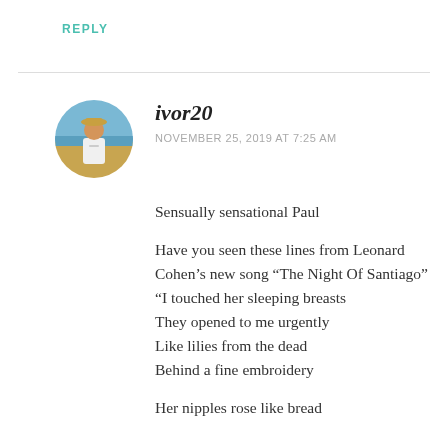REPLY
[Figure (photo): Circular avatar photo of a person wearing a white t-shirt and hat, standing on a beach with blue water and sky in the background.]
ivor20
NOVEMBER 25, 2019 AT 7:25 AM
Sensually sensational Paul
Have you seen these lines from Leonard Cohen’s new song “The Night Of Santiago” “I touched her sleeping breasts They opened to me urgently Like lilies from the dead Behind a fine embroidery Her nipples rose like bread